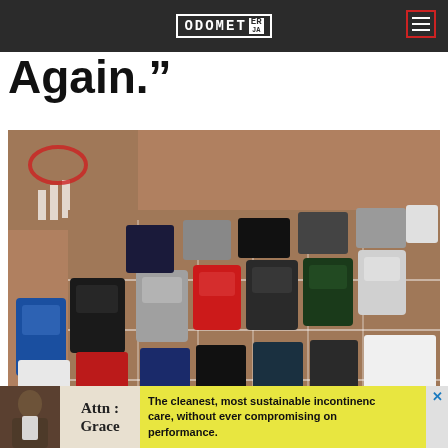ODOMETER
Again.”
[Figure (photo): Aerial/overhead view of a parking lot filled with cars of various colors (blue, red, white, black, silver, dark green) arranged in diagonal parking spaces with white lines on a reddish-brown asphalt surface.]
Photo By Moinzon On Pixabay
Attn : Grace  The cleanest, most sustainable incontinence care, without ever compromising on performance.